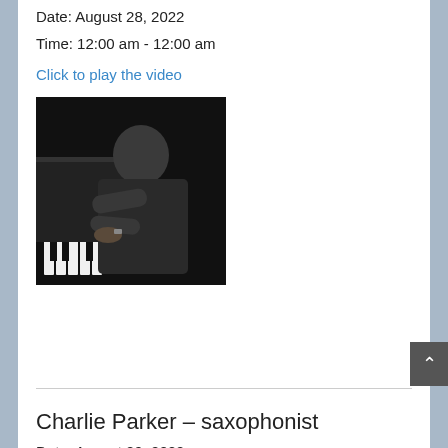Date: August 28, 2022
Time: 12:00 am - 12:00 am
Click to play the video
[Figure (photo): Black and white photograph of a man playing piano, looking toward the camera, wearing a dark turtleneck sweater]
Charlie Parker – saxophonist
Date: August 29, 2022